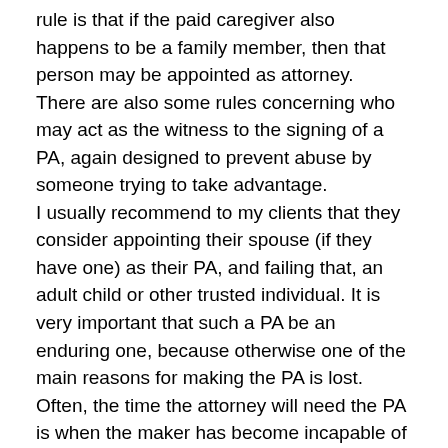rule is that if the paid caregiver also happens to be a family member, then that person may be appointed as attorney.
There are also some rules concerning who may act as the witness to the signing of a PA, again designed to prevent abuse by someone trying to take advantage.
I usually recommend to my clients that they consider appointing their spouse (if they have one) as their PA, and failing that, an adult child or other trusted individual. It is very important that such a PA be an enduring one, because otherwise one of the main reasons for making the PA is lost. Often, the time the attorney will need the PA is when the maker has become incapable of making their own decisions, either by reason of injury or disease.
The coming into force of the new Part 2 provisions of the Power of Attorney Act provides a good opportunity to